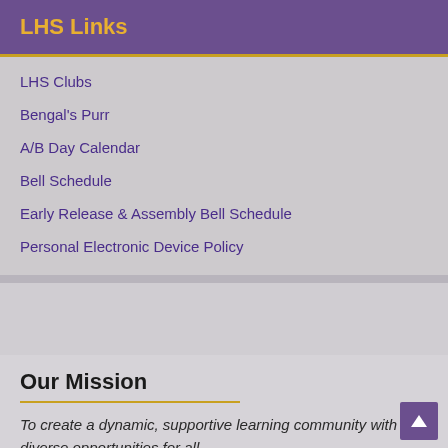LHS Links
LHS Clubs
Bengal's Purr
A/B Day Calendar
Bell Schedule
Early Release & Assembly Bell Schedule
Personal Electronic Device Policy
Our Mission
To create a dynamic, supportive learning community with diverse opportunities for all.